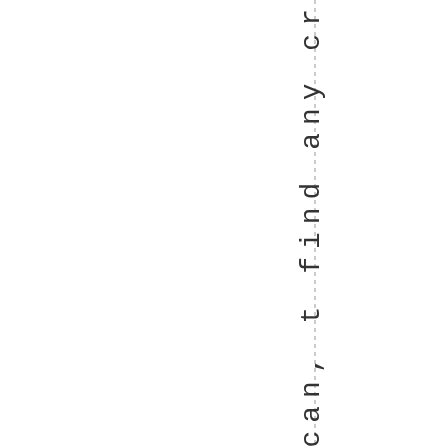-enchs ol can, t find any credits .-i,